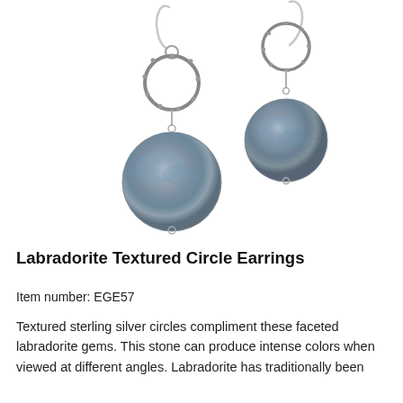[Figure (photo): Two labradorite textured circle earrings with sterling silver hooks and textured circular connectors, each with a round faceted labradorite gem pendant in grey-blue tones.]
Labradorite Textured Circle Earrings
Item number: EGE57
Textured sterling silver circles compliment these faceted labradorite gems. This stone can produce intense colors when viewed at different angles. Labradorite has traditionally been